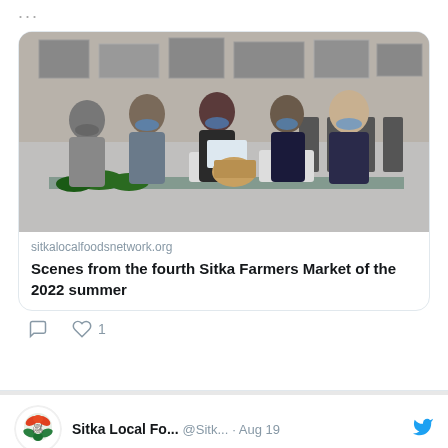...
[Figure (photo): Five people wearing face masks standing at a farmers market table with produce and signs.]
sitkalocalfoodsnetwork.org
Scenes from the fourth Sitka Farmers Market of the 2022 summer
1
Sitka Local Fo...  @Sitk...  · Aug 19
Fundraiser by Alaska Sustainable Fisheries Trust, Inc : Fish for Families 2022
gofundme.com/f/fish-for-fam...
[Figure (photo): Partial photo of a person at the bottom of the screen.]